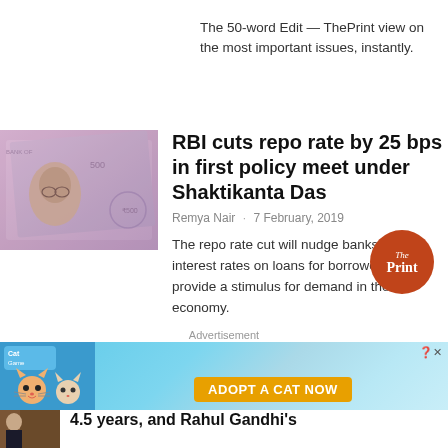The 50-word Edit — ThePrint view on the most important issues, instantly.
[Figure (photo): Close-up photo of Indian currency notes (500 rupee notes) showing Gandhi's face, in pink/purple tones]
RBI cuts repo rate by 25 bps in first policy meet under Shaktikanta Das
Remya Nair · 7 February, 2019
The repo rate cut will nudge banks to cut interest rates on loans for borrowers and provide a stimulus for demand in the economy.
[Figure (logo): ThePrint circular logo — orange/red circle with 'The Print' text in white]
Advertisement
[Figure (photo): Advertisement banner for a cat game app — colorful cartoon cats on blue/teal background with 'ADOPT A CAT NOW' orange button, close button top right]
4.5 years, and Rahul Gandhi's